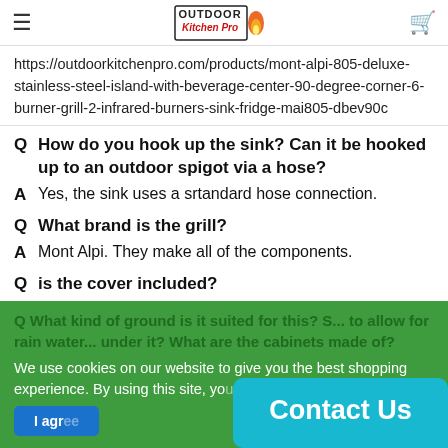Outdoor Kitchen Pro — navigation header
https://outdoorkitchenpro.com/products/mont-alpi-805-deluxe-stainless-steel-island-with-beverage-center-90-degree-corner-6-burner-grill-2-infrared-burners-sink-fridge-mai805-dbev90c
Q How do you hook up the sink? Can it be hooked up to an outdoor spigot via a hose?
A Yes, the sink uses a srtandard hose connection.
Q What brand is the grill?
A Mont Alpi. They make all of the components.
Q is the cover included?
A Yes, it is included. This one also includes the rotisserie.
Q What kind of ground is it suited for this? S... to allow for rain water... under it? What are the cabinets made of?
We use cookies on our website to give you the best shopping experience. By using this site, yo... I agr...
Contact Us